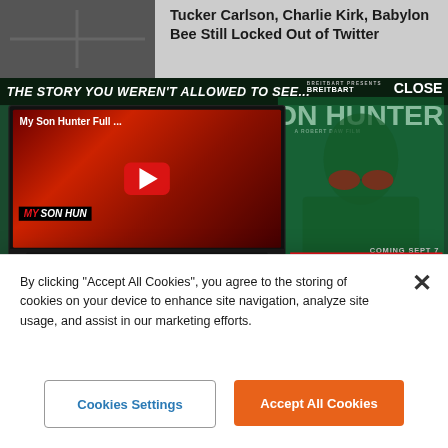Tucker Carlson, Charlie Kirk, Babylon Bee Still Locked Out of Twitter
[Figure (screenshot): Breitbart 'My Son Hunter' film advertisement banner. Shows a YouTube video embed of the film trailer with a red play button, titled 'My Son Hunter Full...', with the text 'THE STORY YOU WEREN'T ALLOWED TO SEE...' at top, a man with red sunglasses smoking against a green background, 'WATCH THE TRAILER' text, 'COMING SEPT 7', 'PRE-ORDER NOW' red button, FBI logo, and MYSONHUNTER.COM at bottom left.]
Rep. Gaetz to FNC's Carlson: DOJ Investigation 'an Operation to Destroy Me' — 'I Have Maintained My
By clicking "Accept All Cookies", you agree to the storing of cookies on your device to enhance site navigation, analyze site usage, and assist in our marketing efforts.
Cookies Settings
Accept All Cookies